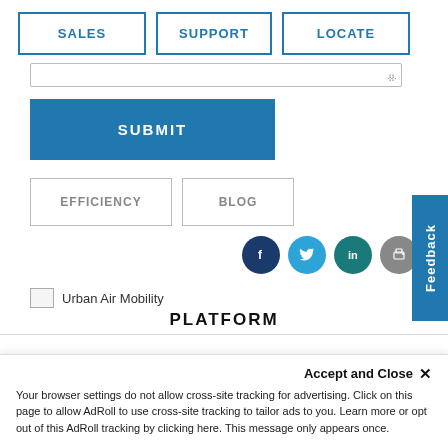SALES
SUPPORT
LOCATE
[Figure (screenshot): Textarea input field with resize handle]
SUBMIT
Feedback
EFFICIENCY
BLOG
[Figure (infographic): Social media icons: Facebook, Twitter, LinkedIn, Print]
[Figure (logo): Urban Air Mobility logo placeholder image]
Urban Air Mobility
PLATFORM
Accept and Close ×
Your browser settings do not allow cross-site tracking for advertising. Click on this page to allow AdRoll to use cross-site tracking to tailor ads to you. Learn more or opt out of this AdRoll tracking by clicking here. This message only appears once.